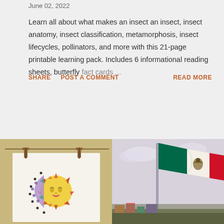June 02, 2022
Learn all about what makes an insect an insect, insect anatomy, insect classification, metamorphosis, insect lifecycles, pollinators, and more with this 21-page printable learning pack. Includes 6 informational reading sheets, butterfly fact cards ...
SHARE   POST A COMMENT   READ MORE
[Figure (illustration): Colorful sun and moon mandala illustration hanging from clothespins on a string against a tan/khaki background]
[Figure (photo): Photo of the Mexican flag on a flagpole against a light sky, with colorful buildings visible at the bottom]